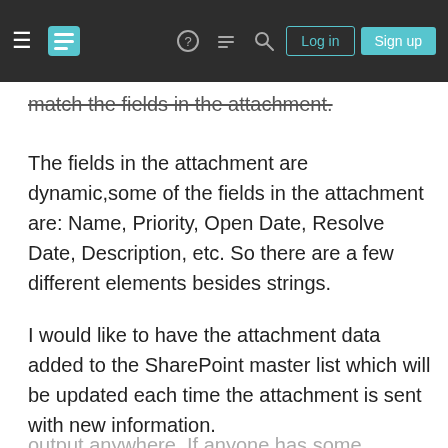[Navigation bar with hamburger menu, Stack Exchange logo, help, chat, search icons, Log in and Sign up buttons]
match the fields in the attachment.
The fields in the attachment are dynamic,some of the fields in the attachment are: Name, Priority, Open Date, Resolve Date, Description, etc. So there are a few different elements besides strings.
I would like to have the attachment data added to the SharePoint master list which will be updated each time the attachment is sent with new information.
Your privacy
By clicking "Accept all cookies", you agree Stack Exchange can store cookies on your device and disclose information in accordance with our Cookie Policy.
output anywhere. If anyone has some suggestions